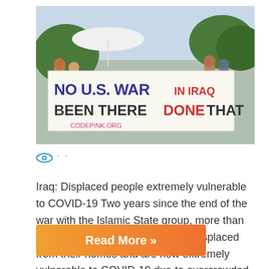[Figure (photo): Protesters holding a large sign reading 'NO U.S. WAR IN IRAQ BEEN THERE DONE THAT' with codepink.org URL, outdoor rally scene]
Iraq: Displaced people extremely vulnerable to COVID-19 Two years since the end of the war with the Islamic State group, more than 1.3 million people in Iraq are still displaced from their homes and are now extremely vulnerable to COVID-19 due to overcrowded and unhygienic living conditions, the international medical humanitarian organization Doctors Without Borders/Médecins...
Read More »